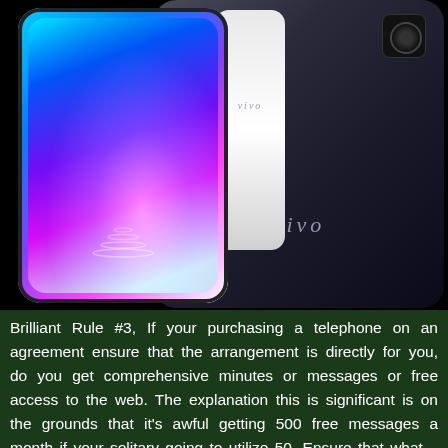[Figure (photo): Product photo showing two Vivo smartphones — one showing the front with a colorful gradient display, and one showing the back in dark/black color with the Vivo logo and camera bump. A white phone edge is also partially visible in the middle.]
Brilliant Rule #3, If your purchasing a telephone on an agreement ensure that the arrangement is directly for you, do you get comprehensive minutes or messages or free access to the web. The explanation this is significant is on the grounds that it's awful getting 500 free messages a month if your solitary going to utilize 50. Ensure that what